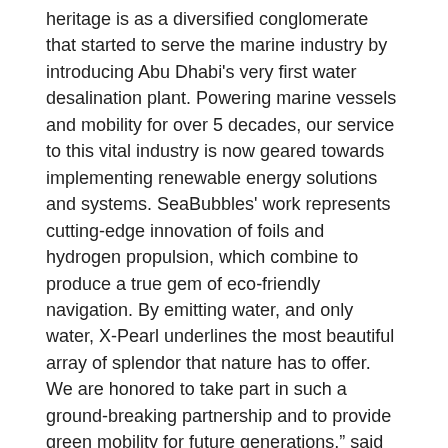heritage is as a diversified conglomerate that started to serve the marine industry by introducing Abu Dhabi's very first water desalination plant. Powering marine vessels and mobility for over 5 decades, our service to this vital industry is now geared towards implementing renewable energy solutions and systems. SeaBubbles' work represents cutting-edge innovation of foils and hydrogen propulsion, which combine to produce a true gem of eco-friendly navigation. By emitting water, and only water, X-Pearl underlines the most beautiful array of splendor that nature has to offer. We are honored to take part in such a ground-breaking partnership and to provide green mobility for future generations," said Rasso Bartenschlager, General Manager of Al Masaood Power Division.
SeaBubbles demonstrates what cutting edge technologies can provide for a greener future. Its hydrogen fuel cell generates the supply of electricity for the internal systems and propulsion pods and a battery pack supports it during flight to balance power needs. This hybridization has the advantage of emitting only water and aims at relying on renewable energy sources. Additionally, the foils reduce wetted surface area, participating in the optimization of the on-board power usage, which represents a